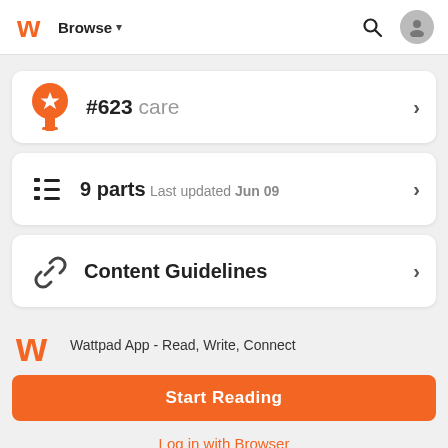Browse
#623 care
9 parts  Last updated Jun 09
Content Guidelines
Wattpad App - Read, Write, Connect
Start Reading
Log in with Browser